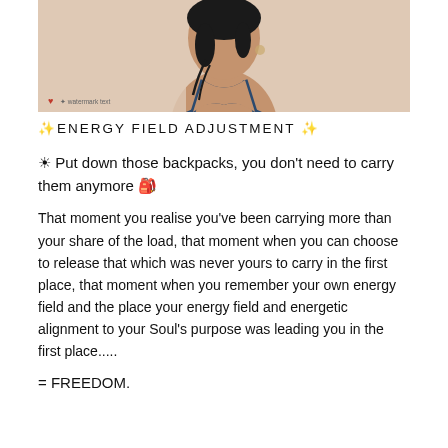[Figure (photo): Portrait photo of a woman with wet dark hair, wearing a navy blue swimsuit top, against a warm sandy/beige background. A small heart emoji and text watermark appear in the bottom-left corner of the image.]
✨ENERGY FIELD ADJUSTMENT ✨
☀ Put down those backpacks, you don't need to carry them anymore 🎒
That moment you realise you've been carrying more than your share of the load, that moment when you can choose to release that which was never yours to carry in the first place, that moment when you remember your own energy field and the place your energy field and energetic alignment to your Soul's purpose was leading you in the first place.....
= FREEDOM.